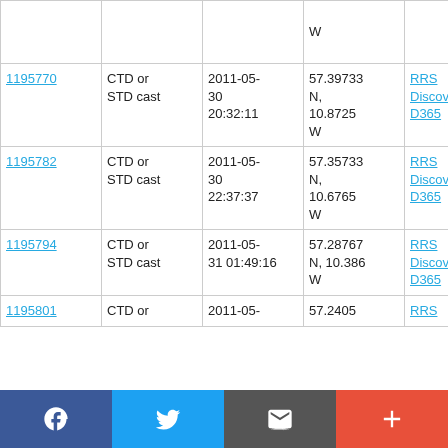| ID | Type | Date/Time | Location | Ship |
| --- | --- | --- | --- | --- |
|  |  |  | W |  |
| 1195770 | CTD or STD cast | 2011-05-30 20:32:11 | 57.39733 N, 10.8725 W | RRS Discovery D365 |
| 1195782 | CTD or STD cast | 2011-05-30 22:37:37 | 57.35733 N, 10.6765 W | RRS Discovery D365 |
| 1195794 | CTD or STD cast | 2011-05-31 01:49:16 | 57.28767 N, 10.386 W | RRS Discovery D365 |
| 1195801 | CTD or | 2011-05- | 57.2405 | RRS |